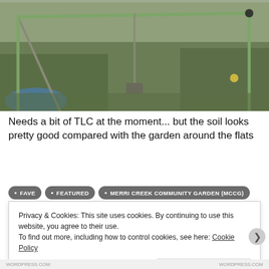[Figure (photo): Outdoor garden scene showing a metal frame structure (likely a trellis or support) with green poles, surrounded by grass, weeds, and some flowering plants. A blue garden hose coil is visible in the lower left.]
Needs a bit of TLC at the moment... but the soil looks pretty good compared with the garden around the flats
• FAVE  • FEATURED  • MERRI CREEK COMMUNITY GARDEN (MCCG)
Privacy & Cookies: This site uses cookies. By continuing to use this website, you agree to their use.
To find out more, including how to control cookies, see here: Cookie Policy
Close and accept